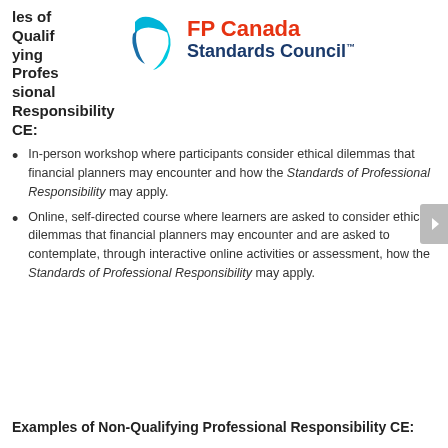les of Qualifying Professional Responsibility CE:
[Figure (logo): FP Canada Standards Council logo with blue curved shape and red/navy text]
In-person workshop where participants consider ethical dilemmas that financial planners may encounter and how the Standards of Professional Responsibility may apply.
Online, self-directed course where learners are asked to consider ethical dilemmas that financial planners may encounter and are asked to contemplate, through interactive online activities or assessment, how the Standards of Professional Responsibility may apply.
Examples of Non-Qualifying Professional Responsibility CE: